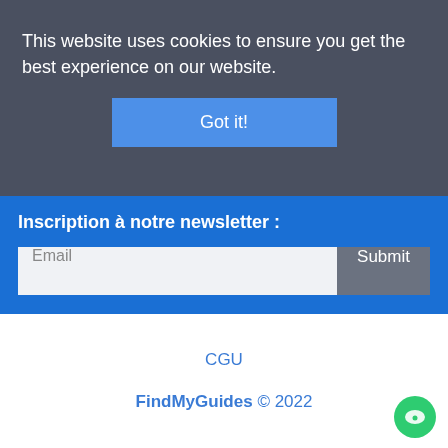This website uses cookies to ensure you get the best experience on our website.
Got it!
Inscription à notre newsletter :
Email
Submit
CGU
FindMyGuides © 2022